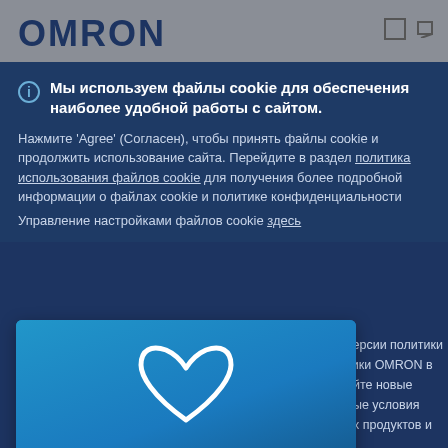[Figure (logo): OMRON logo in dark navy text on grey header bar]
Мы используем файлы cookie для обеспечения наиболее удобной работы с сайтом.
Нажмите 'Agree' (Согласен), чтобы принять файлы cookie и продолжить использование сайта. Перейдите в раздел политика использования файлов cookie для получения более подробной информации о файлах cookie и политике конфиденциальности
Управление настройками файлов cookie здесь
[Figure (illustration): Blue gradient card with white heart outline icon in center, white bottom section with bold text]
версии политики тики OMRON в айте новые ные условия их продуктов и
НОВИНКА! Сохраняйте списки